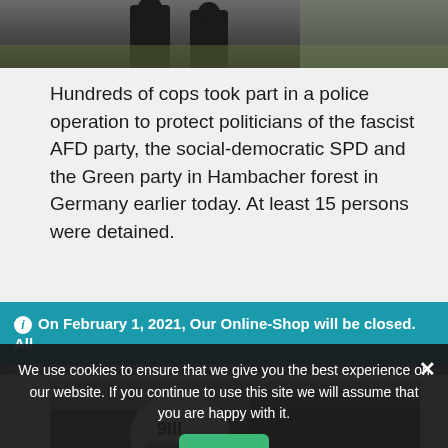[Figure (photo): Top portion of a photo showing people in dark clothing outdoors]
Hundreds of cops took part in a police operation to protect politicians of the fascist AFD party, the social-democratic SPD and the Green party in Hambacher forest in Germany earlier today. At least 15 persons were detained.
[Figure (photo): A police officer wearing a white helmet with '9III' markings, standing in a forested area]
On February 1, 2021, Our Online-Shop will be closed. All orders until January 31 will be delivered
Dismiss
We use cookies to ensure that we give you the best experience on our website. If you continue to use this site we will assume that you are happy with it.
Ok